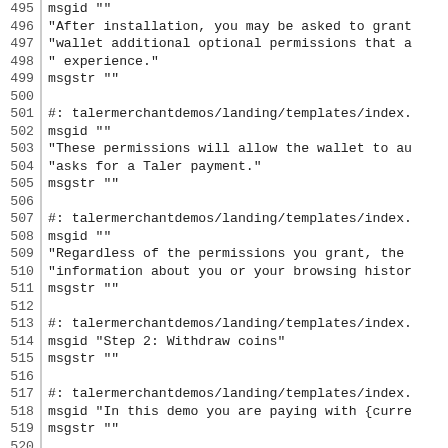Code file viewer showing lines 495-524 of a .po localization file
495  msgid ""
496  "After installation, you may be asked to grant
497  "wallet additional optional permissions that a
498  " experience."
499  msgstr ""
500
501  #: talermerchantdemos/landing/templates/index.
502  msgid ""
503  "These permissions will allow the wallet to au
504  "asks for a Taler payment."
505  msgstr ""
506
507  #: talermerchantdemos/landing/templates/index.
508  msgid ""
509  "Regardless of the permissions you grant, the
510  "information about you or your browsing histor
511  msgstr ""
512
513  #: talermerchantdemos/landing/templates/index.
514  msgid "Step 2: Withdraw coins"
515  msgstr ""
516
517  #: talermerchantdemos/landing/templates/index.
518  msgid "In this demo you are paying with {curre
519  msgstr ""
520
521  #: talermerchantdemos/landing/templates/index.
522  msgid ""
523  "To withdraw {currency} coins you must first c
524  "href=\"{bank}\">bank</a>."